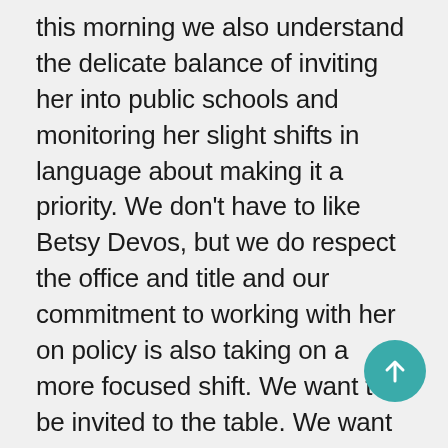this morning we also understand the delicate balance of inviting her into public schools and monitoring her slight shifts in language about making it a priority. We don't have to like Betsy Devos, but we do respect the office and title and our commitment to working with her on policy is also taking on a more focused shift. We want to be invited to the table. We want to be able to explain some of the issues we feel she isn't well versed on with Black students. We want to make sure she understands the focus of BBAS.
[Figure (other): Teal circular FAB (floating action button) with a white upward arrow icon in the bottom-right corner of the page.]